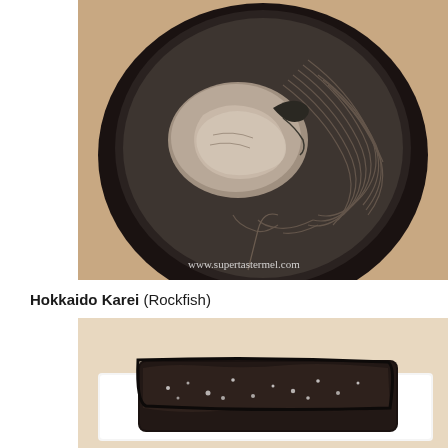[Figure (photo): Overhead view of a black lacquer bowl containing soba noodles and a large clam or oyster in broth, photographed on a wooden table. Watermark reads www.supertastermel.com]
Hokkaido Karei (Rockfish)
[Figure (photo): Close-up photo of a piece of grilled or seared dark-skinned rockfish (Hokkaido Karei) on a white rectangular plate, showing speckled dark skin with salt crystals.]